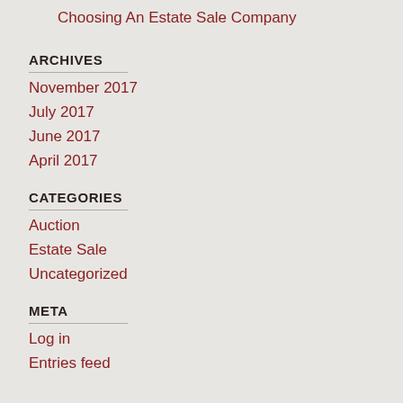Choosing An Estate Sale Company
ARCHIVES
November 2017
July 2017
June 2017
April 2017
CATEGORIES
Auction
Estate Sale
Uncategorized
META
Log in
Entries feed